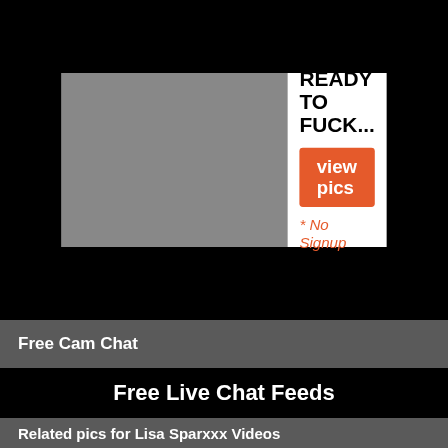[Figure (photo): Advertisement banner with photo on black background, text 'READY TO FUCK...' with orange 'view pics' button and '* No Signup' text]
Free Cam Chat
Free Live Chat Feeds
Related pics for Lisa Sparxxx Videos